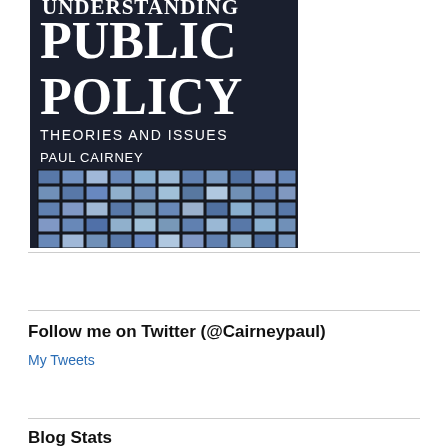[Figure (illustration): Book cover of 'Understanding Public Policy: Theories and Issues' by Paul Cairney. Dark background with title in white large serif letters, author name below, and a grid of blue iridescent tiles covering the lower portion.]
Follow me on Twitter (@Cairneypaul)
My Tweets
Blog Stats